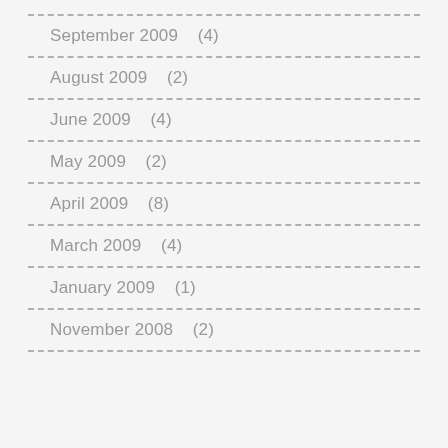September 2009   (4)
August 2009   (2)
June 2009   (4)
May 2009   (2)
April 2009   (8)
March 2009   (4)
January 2009   (1)
November 2008   (2)